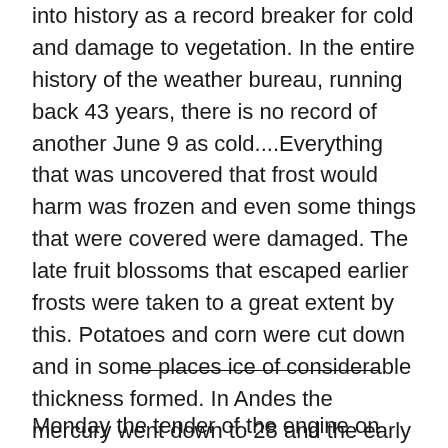into history as a record breaker for cold and damage to vegetation. In the entire history of the weather bureau, running back 43 years, there is no record of another June 9 as cold....Everything that was uncovered that frost would harm was frozen and even some things that were covered were damaged. The late fruit blossoms that escaped earlier frosts were taken to a great extent by this. Potatoes and corn were cut down and in some places ice of considerable thickness formed. In Andes the mercury went down to 28 and the early gardener is re-planting.
Monday the tender of the engine on the